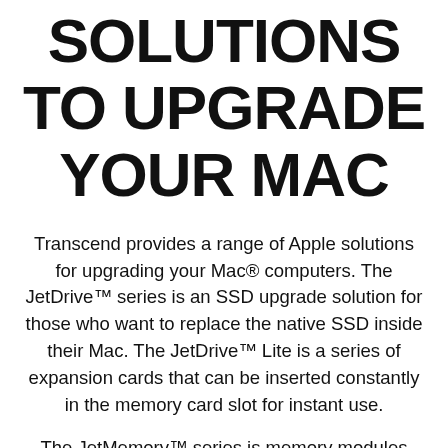SOLUTIONS TO UPGRADE YOUR MAC
Transcend provides a range of Apple solutions for upgrading your Mac® computers. The JetDrive™ series is an SSD upgrade solution for those who want to replace the native SSD inside their Mac. The JetDrive™ Lite is a series of expansion cards that can be inserted constantly in the memory card slot for instant use.
The JetMemory™ series is memory modules fully compatible with Mac computers. No matter which upgrade solution you choose, you'll be satisfied with